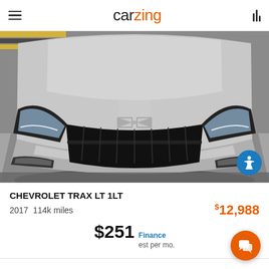carzing
[Figure (photo): Front view of a silver Chevrolet Trax SUV, showing the front grille, headlights, and Chevrolet bowtie logo, parked in a lot]
CHEVROLET TRAX LT 1LT
2017  114k miles   $12,988
$251 Finance est per mo.
CAR CREDIT
TAMPA, FL (0 mi)